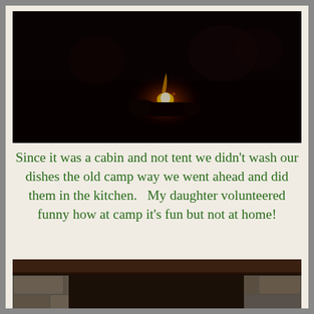[Figure (photo): Dark nighttime photo showing a campfire with a small flame glowing in near-total darkness, with faint silhouettes of people visible in the background]
Since it was a cabin and not tent we didn't wash our dishes the old camp way we went ahead and did them in the kitchen.   My daughter volunteered funny how at camp it's fun but not at home!
[Figure (photo): Partial photo of a stone fireplace with a dark wooden mantel, stone surround visible at bottom]